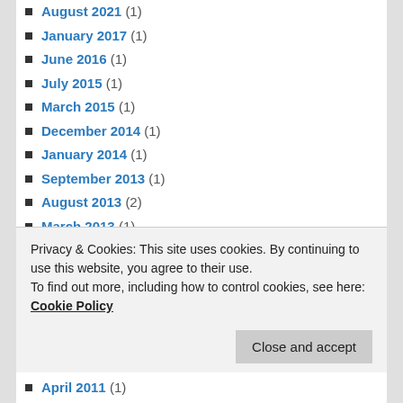August 2021 (1)
January 2017 (1)
June 2016 (1)
July 2015 (1)
March 2015 (1)
December 2014 (1)
January 2014 (1)
September 2013 (1)
August 2013 (2)
March 2013 (1)
January 2013 (1)
December 2012 (2)
September 2012 (1)
August 2012 (1)
July 2012 (1)
Privacy & Cookies: This site uses cookies. By continuing to use this website, you agree to their use. To find out more, including how to control cookies, see here: Cookie Policy
April 2011 (1)